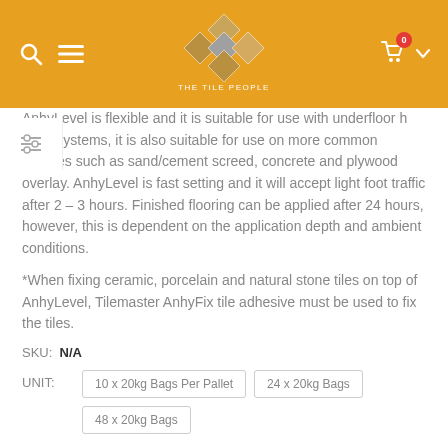[Figure (logo): The Tile People logo with diamond tile pattern in gold/grey tones and navigation icons (search, menu, cart) on orange/amber header bar]
AnhyLevel is flexible and it is suitable for use with underfloor heating systems, it is also suitable for use on more common substrates such as sand/cement screed, concrete and plywood overlay. AnhyLevel is fast setting and it will accept light foot traffic after 2 – 3 hours. Finished flooring can be applied after 24 hours, however, this is dependent on the application depth and ambient conditions.
*When fixing ceramic, porcelain and natural stone tiles on top of AnhyLevel, Tilemaster AnhyFix tile adhesive must be used to fix the tiles.
SKU: N/A
UNIT: 10 x 20kg Bags Per Pallet   24 x 20kg Bags   48 x 20kg Bags